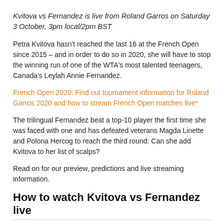Kvitova vs Fernandez is live from Roland Garros on Saturday 3 October, 3pm local/2pm BST
Petra Kvitova hasn't reached the last 16 at the French Open since 2015 – and in order to do so in 2020, she will have to stop the winning run of one of the WTA's most talented teenagers, Canada's Leylah Annie Fernandez.
French Open 2020: Find out tournament information for Roland Garros 2020 and how to stream French Open matches live*
The trilingual Fernandez beat a top-10 player the first time she was faced with one and has defeated veterans Magda Linette and Polona Hercog to reach the third round: Can she add Kvitova to her list of scalps?
Read on for our preview, predictions and live streaming information.
How to watch Kvitova vs Fernandez live